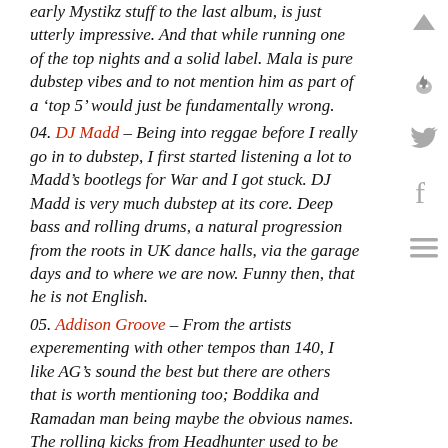early Mystikz stuff to the last album, is just utterly impressive. And that while running one of the top nights and a solid label. Mala is pure dubstep vibes and to not mention him as part of a 'top 5' would just be fundamentally wrong.
04. DJ Madd – Being into reggae before I really go in to dubstep, I first started listening a lot to Madd's bootlegs for War and I got stuck. DJ Madd is very much dubstep at its core. Deep bass and rolling drums, a natural progression from the roots in UK dance halls, via the garage days and to where we are now. Funny then, that he is not English.
05. Addison Groove – From the artists experementing with other tempos than 140, I like AG's sound the best but there are others that is worth mentioning too; Boddika and Ramadan man being maybe the obvious names. The rolling kicks from Headhunter used to be standard in my sets and now the progressive vibes of Addison Groove